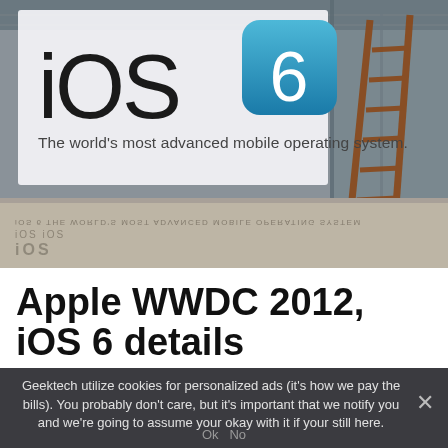[Figure (photo): Photo of an iOS 6 banner sign at WWDC 2012 venue. The sign shows 'iOS 6' with the iOS 6 icon (blue rounded square with a white 6) and the tagline 'The world's most advanced mobile operating system.' A ladder is visible in the background right, and the floor has a reflective surface showing the text mirrored.]
Apple WWDC 2012, iOS 6 details
Geektech utilize cookies for personalized ads (it's how we pay the bills). You probably don't care, but it's important that we notify you and we're going to assume your okay with it if your still here.